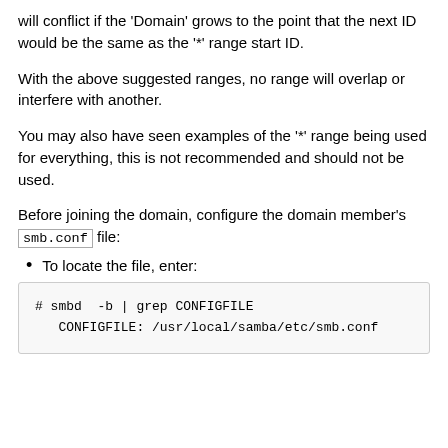will conflict if the 'Domain' grows to the point that the next ID would be the same as the '*' range start ID.
With the above suggested ranges, no range will overlap or interfere with another.
You may also have seen examples of the '*' range being used for everything, this is not recommended and should not be used.
Before joining the domain, configure the domain member's smb.conf file:
To locate the file, enter:
# smbd  -b | grep CONFIGFILE
   CONFIGFILE: /usr/local/samba/etc/smb.conf